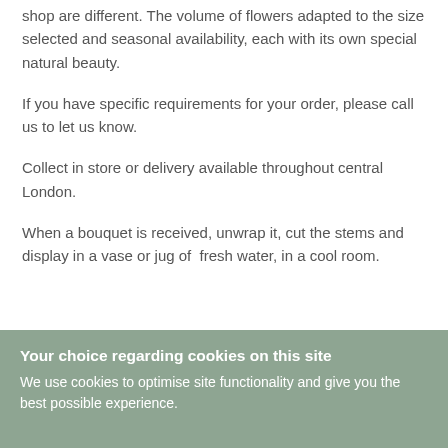shop are different. The volume of flowers adapted to the size selected and seasonal availability, each with its own special natural beauty.
If you have specific requirements for your order, please call us to let us know.
Collect in store or delivery available throughout central London.
When a bouquet is received, unwrap it, cut the stems and display in a vase or jug of fresh water, in a cool room.
Your choice regarding cookies on this site
We use cookies to optimise site functionality and give you the best possible experience.